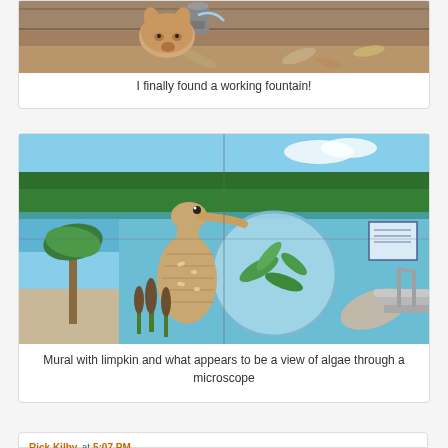[Figure (photo): A dog or animal drinking from or near a water fountain, viewed from above showing the animal's head and a fountain fixture on what appears to be a wooden surface with dirt/leaves]
I finally found a working fountain!
[Figure (photo): A mural on a wall depicting a limpkin bird standing in water with green plants, and a circular view appearing to show algae through a microscope, with water/lake scene in background including trees and palm trees]
Mural with limpkin and what appears to be a view of algae through a microscope
Rick Kilby at 5:07 PM